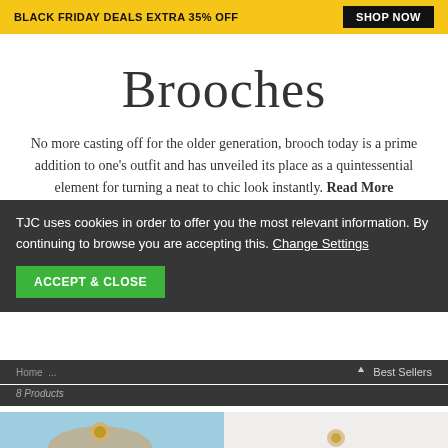BLACK FRIDAY DEALS EXTRA 35% OFF  SHOP NOW
Brooches
No more casting off for the older generation, brooch today is a prime addition to one's outfit and has unveiled its place as a quintessential element for turning a neat to chic look instantly. Read More
TJC uses cookies in order to offer you the most relevant information. By continuing to browse you are accepting this. Change Settings
ACCEPT & CLOSE
Home ... Best Sellers
8 Products
[Figure (photo): Brooch product photo on light blue background with wooden display]
[Figure (photo): Brooch product photo on light background]